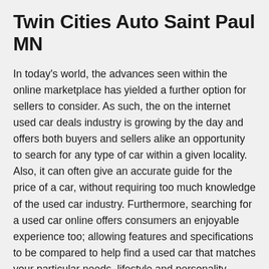Twin Cities Auto Saint Paul MN
In today's world, the advances seen within the online marketplace has yielded a further option for sellers to consider. As such, the on the internet used car deals industry is growing by the day and offers both buyers and sellers alike an opportunity to search for any type of car within a given locality. Also, it can often give an accurate guide for the price of a car, without requiring too much knowledge of the used car industry. Furthermore, searching for a used car online offers consumers an enjoyable experience too; allowing features and specifications to be compared to help find a used car that matches your particular needs, lifestyle and personality.
Indeed, a number of online guides are available to provide you with information on the best methods to